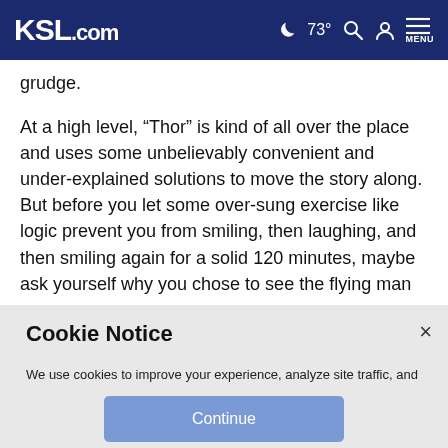KSL.com  73° MENU
grudge.
At a high level, “Thor” is kind of all over the place and uses some unbelievably convenient and under-explained solutions to move the story along. But before you let some over-sung exercise like logic prevent you from smiling, then laughing, and then smiling again for a solid 120 minutes, maybe ask yourself why you chose to see the flying man on
Cookie Notice
We use cookies to improve your experience, analyze site traffic, and to personalize content and ads. By continuing to use our site, you consent to our use of cookies. Please visit our Terms of Use and Privacy Policy for more information.
Continue